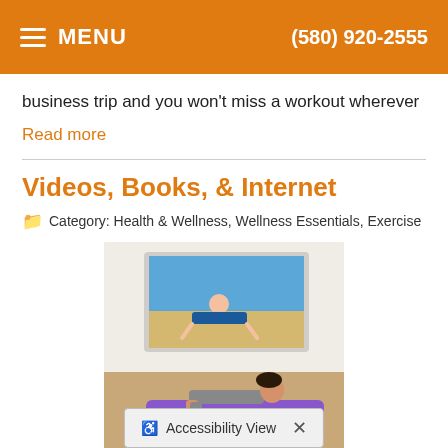MENU  (580) 920-2555
business trip and you won't miss a workout wherever
Read more
Videos, Books, & Internet
Category: Health & Wellness, Wellness Essentials, Exercise
[Figure (photo): Woman doing a plank exercise on a purple yoga mat in front of a large TV screen showing a fitness instructor at the beach.]
With today's technology there really is no good excuse not to stretch and exercise properly. You can check out exercise videos for free at the local library, rent them from video